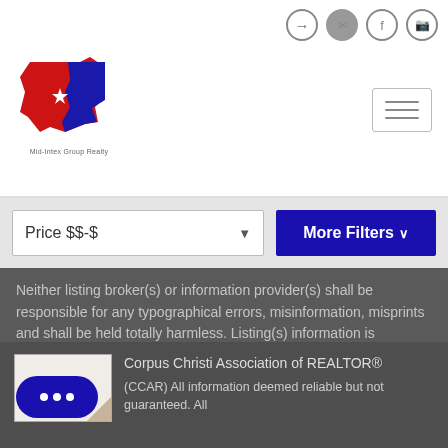[Figure (logo): Texas shaped logo in red and blue with star, Mid-Intex Group Realty text below]
[Figure (screenshot): Hamburger menu icon with three horizontal lines in a bordered box]
Price $$-$
More Filters
Neither listing broker(s) or information provider(s) shall be responsible for any typographical errors, misinformation, misprints and shall be held totally harmless. Listing(s) information is provided for consumer's personal, non-commercial use and may not be used for any purpose other than to identify prospective properties   Show More...
Corpus Christi Association of REALTOR®
(CCAR) All information deemed reliable but not guaranteed. All